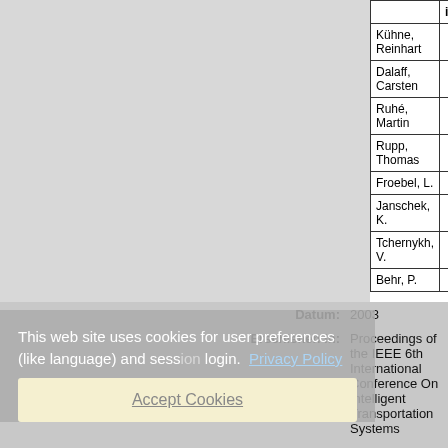|  | iD |
| --- | --- |
| Kühne, Reinhart |  |
| Dalaff, Carsten |  |
| Ruhé, Martin |  |
| Rupp, Thomas |  |
| Froebel, L. |  |
| Janschek, K. |  |
| Tchernykh, V. |  |
| Behr, P. |  |
Datum: 2003
Erschienen in: Proceedings of the IEEE 6th International Conference On Intelligent Transportation Systems
Open Access: Nein
In SCOPUS: Nein
In ISI Web of Science: Nein
Band: 1
Seitenbereich: Seiten 765-773
ISBN: 0 7803 8125 4
This web site uses cookies for user preferences (like language) and session login. Privacy Policy
Accept Cookies